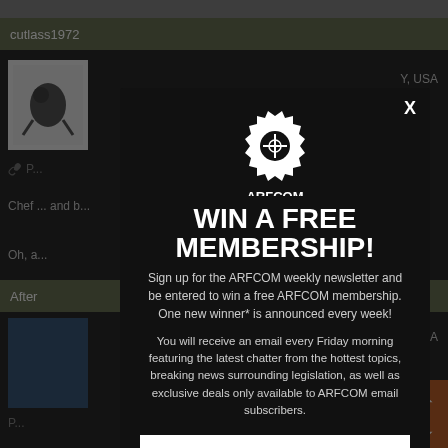cutlass1972
Y, USA
Chef ... and b...
Oh, a...
After
K, USA
[Figure (screenshot): ARFCOM popup modal with logo, WIN A FREE MEMBERSHIP headline, and newsletter signup text over a dark website background]
WIN A FREE MEMBERSHIP!
Sign up for the ARFCOM weekly newsletter and be entered to win a free ARFCOM membership. One new winner* is announced every week!
You will receive an email every Friday morning featuring the latest chatter from the hottest topics, breaking news surrounding legislation, as well as exclusive deals only available to ARFCOM email subscribers.